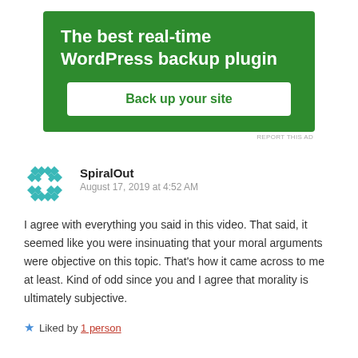[Figure (screenshot): Green advertisement banner for WordPress backup plugin with white button saying 'Back up your site']
REPORT THIS AD
SpiralOut
August 17, 2019 at 4:52 AM
I agree with everything you said in this video. That said, it seemed like you were insinuating that your moral arguments were objective on this topic. That's how it came across to me at least. Kind of odd since you and I agree that morality is ultimately subjective.
Liked by 1 person